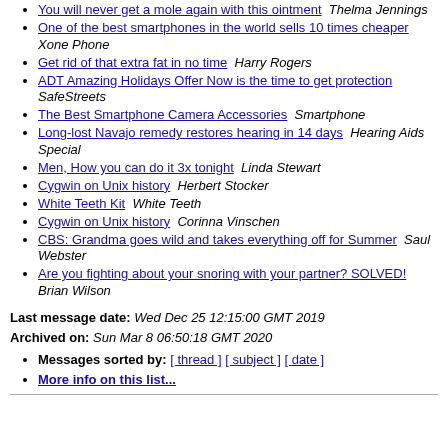You will never get a mole again with this ointment  Thelma Jennings
One of the best smartphones in the world sells 10 times cheaper  Xone Phone
Get rid of that extra fat in no time  Harry Rogers
ADT Amazing Holidays Offer Now is the time to get protection  SafeStreets
The Best Smartphone Camera Accessories  Smartphone
Long-lost Navajo remedy restores hearing in 14 days  Hearing Aids Special
Men, How you can do it 3x tonight  Linda Stewart
Cygwin on Unix history  Herbert Stocker
White Teeth Kit  White Teeth
Cygwin on Unix history  Corinna Vinschen
CBS: Grandma goes wild and takes everything off for Summer  Saul Webster
Are you fighting about your snoring with your partner? SOLVED!  Brian Wilson
Last message date: Wed Dec 25 12:15:00 GMT 2019
Archived on: Sun Mar 8 06:50:18 GMT 2020
Messages sorted by: [ thread ] [ subject ] [ date ]
More info on this list...